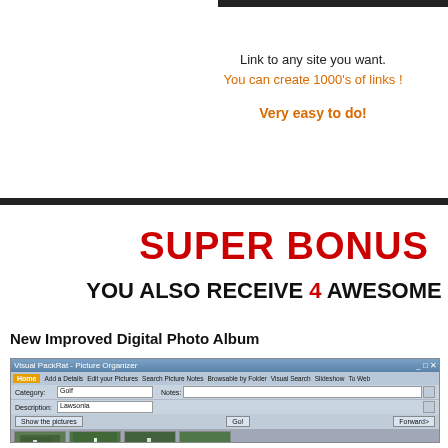Link to any site you want.
You can create 1000's of links !
Very easy to do!
SUPER BONUS
YOU ALSO RECEIVE 4 AWESOME
New Improved Digital Photo Album
[Figure (screenshot): Screenshot of Visual PackRat - Picture Organizer software showing a photo album with golf course images in a grid view]